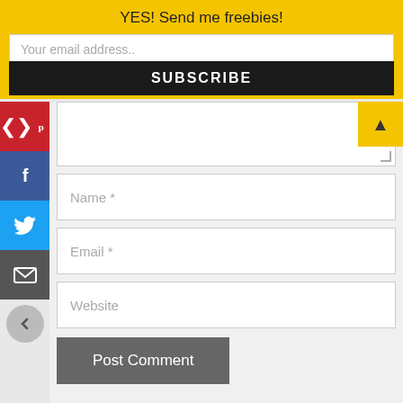YES! Send me freebies!
Your email address..
SUBSCRIBE
[Figure (infographic): Social media sidebar with Pinterest, Facebook, Twitter, Email icons and a back arrow button]
Name *
Email *
Website
Post Comment